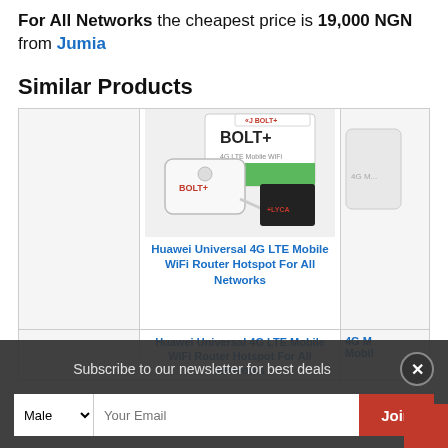For All Networks the cheapest price is 19,000 NGN from Jumia
Similar Products
[Figure (photo): Photo of Huawei Universal 4G LTE Mobile WiFi Router Hotspot For All Networks product (BOLT+ branded box and device with USB cable)]
Huawei Universal 4G LTE Mobile WiFi Router Hotspot For All Networks
Subscribe to our newsletter for best deals
Male  Your Email  Join